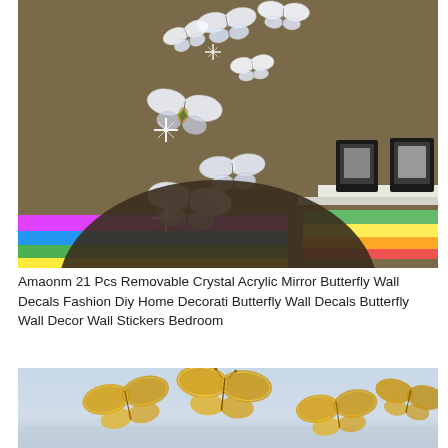[Figure (photo): Product photo showing mirrored acrylic butterfly wall decals arranged on a brown wall above colorful stacked books/items, with two black photo frames on a white shelf in the background.]
Amaonm 21 Pcs Removable Crystal Acrylic Mirror Butterfly Wall Decals Fashion Diy Home Decorati Butterfly Wall Decals Butterfly Wall Decor Wall Stickers Bedroom
[Figure (photo): Product photo showing gold glitter 3D butterfly wall decals arranged on a light blue/grey surface, appearing to fly upward.]